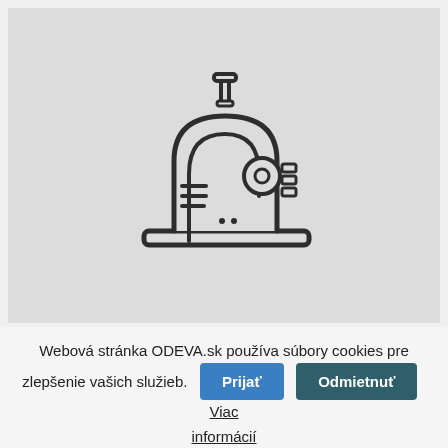[Figure (illustration): A sewing machine icon/illustration in dark outline style centered on a light gray rectangular background.]
Webová stránka ODEVA.sk používa súbory cookies pre zlepšenie vašich služieb.
Prijať | Odmietnuť | Viac informácií